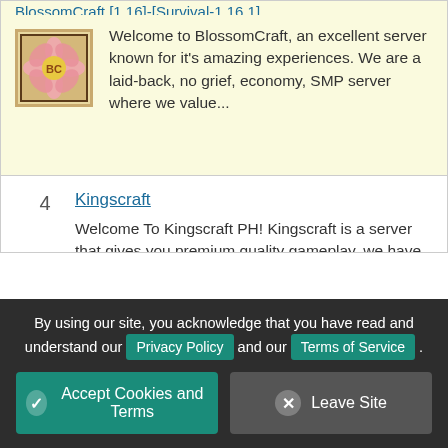BlossomCraft [1.16]-[Survival-1.16.1]...
[Figure (logo): BlossomCraft server logo - pink flower with BC letters on tan background with dark border]
Welcome to BlossomCraft, an excellent server known for it's amazing experiences. We are a laid-back, no grief, economy, SMP server where we value...
4  Kingscraft
Welcome To Kingscraft PH! Kingscraft is a server that gives you premium quality gameplay, we have a friendly community that welcomes you warmly. We...
5  MineMalia Network 1.9-1.19
MineMalia Network is a cracked server that strives to provide you with the best possible
By using our site, you acknowledge that you have read and understand our Privacy Policy and our Terms of Service .
Accept Cookies and Terms
Leave Site